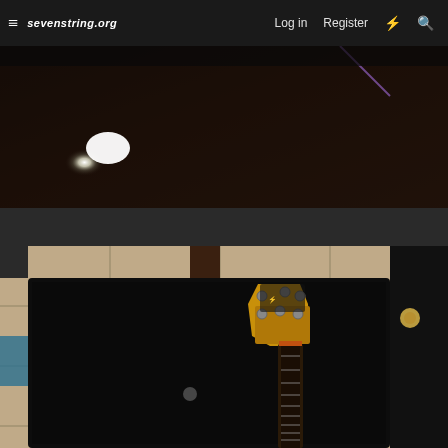sevenstring.org — Log in | Register
[Figure (photo): Dark close-up photo of a guitar body surface with a bright light reflection creating a glare spot on the dark finish]
[Figure (photo): Photo of a guitar headstock and neck in an open black guitar case on a tiled floor, with case latches visible]